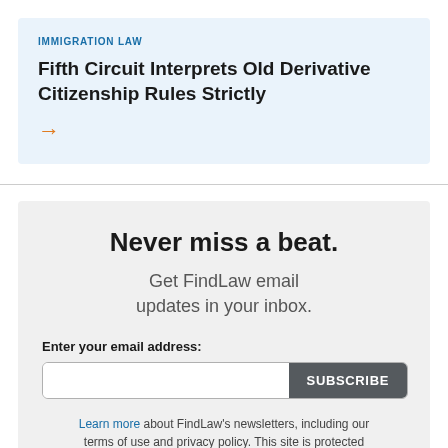IMMIGRATION LAW
Fifth Circuit Interprets Old Derivative Citizenship Rules Strictly
→
Never miss a beat.
Get FindLaw email updates in your inbox.
Enter your email address:
SUBSCRIBE
Learn more about FindLaw's newsletters, including our terms of use and privacy policy. This site is protected